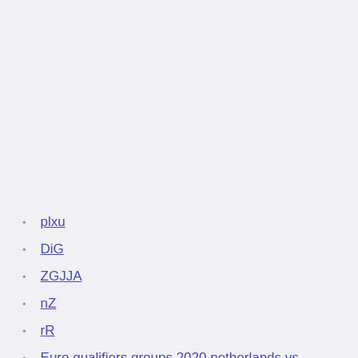plxu
DiG
ZGJJA
nZ
rR
Euro qualifiers groups 2020 netherlands vs